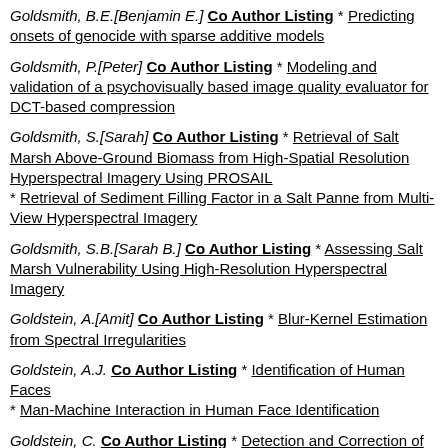Goldsmith, B.E.[Benjamin E.] Co Author Listing * Predicting onsets of genocide with sparse additive models
Goldsmith, P.[Peter] Co Author Listing * Modeling and validation of a psychovisually based image quality evaluator for DCT-based compression
Goldsmith, S.[Sarah] Co Author Listing * Retrieval of Salt Marsh Above-Ground Biomass from High-Spatial Resolution Hyperspectral Imagery Using PROSAIL
* Retrieval of Sediment Filling Factor in a Salt Panne from Multi-View Hyperspectral Imagery
Goldsmith, S.B.[Sarah B.] Co Author Listing * Assessing Salt Marsh Vulnerability Using High-Resolution Hyperspectral Imagery
Goldstein, A.[Amit] Co Author Listing * Blur-Kernel Estimation from Spectral Irregularities
Goldstein, A.J. Co Author Listing * Identification of Human Faces
* Man-Machine Interaction in Human Face Identification
Goldstein, C. Co Author Listing * Detection and Correction of Glitches in a Multiplexed Multichannel Data Stream: